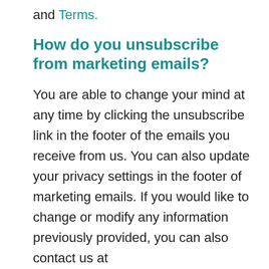and Terms.
How do you unsubscribe from marketing emails?
You are able to change your mind at any time by clicking the unsubscribe link in the footer of the emails you receive from us. You can also update your privacy settings in the footer of marketing emails. If you would like to change or modify any information previously provided, you can also contact us at
katie@www.katietysome.co.uk